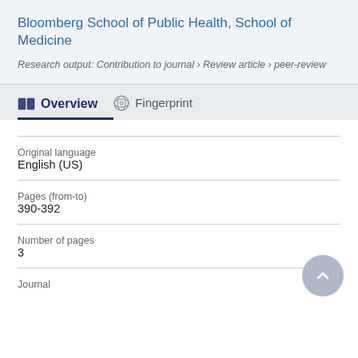Bloomberg School of Public Health, School of Medicine
Research output: Contribution to journal › Review article › peer-review
Overview
Fingerprint
| Field | Value |
| --- | --- |
| Original language | English (US) |
| Pages (from-to) | 390-392 |
| Number of pages | 3 |
| Journal |  |